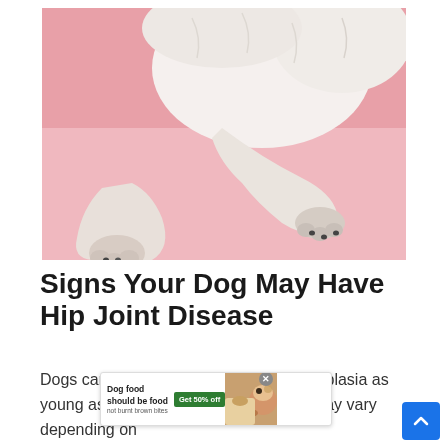[Figure (photo): Close-up photo of a white fluffy dog lying on its back on a pink background, showing its paws and legs from below]
Signs Your Dog May Have Hip Joint Disease
Dogs can begin to show signs of hip dysplasia as young as four months. The symptoms may vary depending on you see